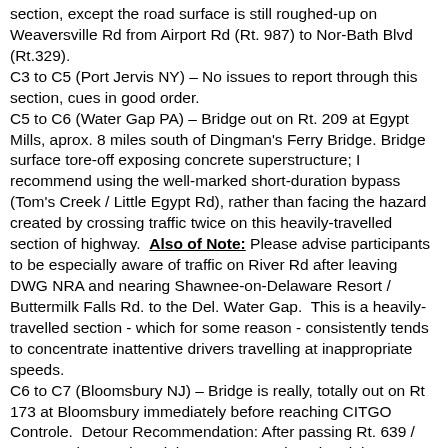section, except the road surface is still roughed-up on Weaversville Rd from Airport Rd (Rt. 987) to Nor-Bath Blvd (Rt.329).
C3 to C5 (Port Jervis NY) – No issues to report through this section, cues in good order.
C5 to C6 (Water Gap PA) – Bridge out on Rt. 209 at Egypt Mills, aprox. 8 miles south of Dingman's Ferry Bridge. Bridge surface tore-off exposing concrete superstructure; I recommend using the well-marked short-duration bypass (Tom's Creek / Little Egypt Rd), rather than facing the hazard created by crossing traffic twice on this heavily-travelled section of highway. Also of Note: Please advise participants to be especially aware of traffic on River Rd after leaving DWG NRA and nearing Shawnee-on-Delaware Resort / Buttermilk Falls Rd. to the Del. Water Gap. This is a heavily-travelled section - which for some reason - consistently tends to concentrate inattentive drivers travelling at inappropriate speeds.
C6 to C7 (Bloomsbury NJ) – Bridge is really, totally out on Rt 173 at Bloomsbury immediately before reaching CITGO Controle. Detour Recommendation: After passing Rt. 639 / Warren Glen road on right, I recommend turning right onto Rt. 579. Church Rd for a short unpaved bike lane 12th to...